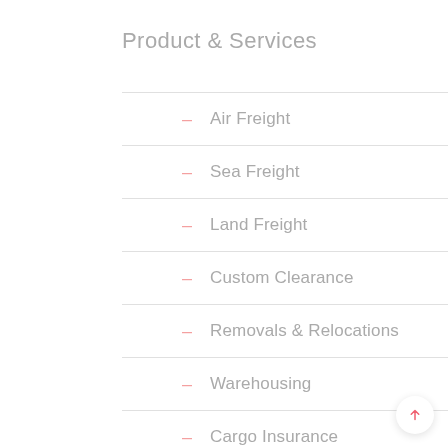Product & Services
Air Freight
Sea Freight
Land Freight
Custom Clearance
Removals & Relocations
Warehousing
Cargo Insurance
Exhibition handling
NVOCC